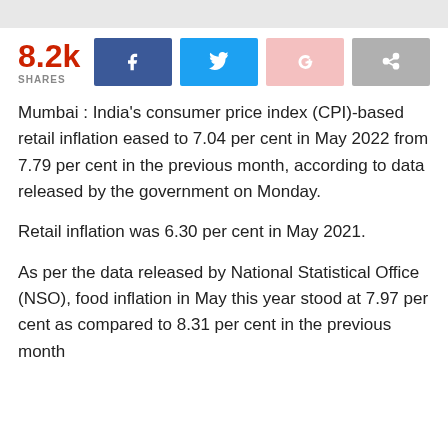[Figure (infographic): Social share bar showing 8.2k shares with Facebook, Twitter, Google+, and share buttons]
Mumbai : India's consumer price index (CPI)-based retail inflation eased to 7.04 per cent in May 2022 from 7.79 per cent in the previous month, according to data released by the government on Monday.
Retail inflation was 6.30 per cent in May 2021.
As per the data released by National Statistical Office (NSO), food inflation in May this year stood at 7.97 per cent as compared to 8.31 per cent in the previous month